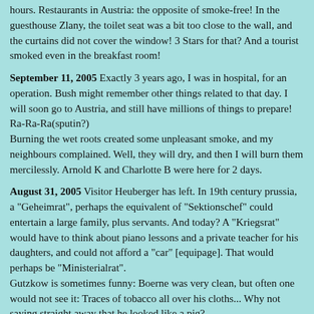hours. Restaurants in Austria: the opposite of smoke-free! In the guesthouse Zlany, the toilet seat was a bit too close to the wall, and the curtains did not cover the window! 3 Stars for that? And a tourist smoked even in the breakfast room!
September 11, 2005 Exactly 3 years ago, I was in hospital, for an operation. Bush might remember other things related to that day. I will soon go to Austria, and still have millions of things to prepare!
Ra-Ra-Ra(sputin?)
Burning the wet roots created some unpleasant smoke, and my neighbours complained. Well, they will dry, and then I will burn them mercilessly. Arnold K and Charlotte B were here for 2 days.
August 31, 2005 Visitor Heuberger has left. In 19th century prussia, a "Geheimrat", perhaps the equivalent of "Sektionschef" could entertain a large family, plus servants. And today? A "Kriegsrat" would have to think about piano lessons and a private teacher for his daughters, and could not afford a "car" [equipage]. That would perhaps be "Ministerialrat".
Gutzkow is sometimes funny: Boerne was very clean, but often one would not see it: Traces of tobacco all over his cloths... Why not saying straight away that he looked like a pig?
I will get James Muir's thesis printed. Burnt all my roots! On monday, I used the scooter, now it is not nice again, but dry.